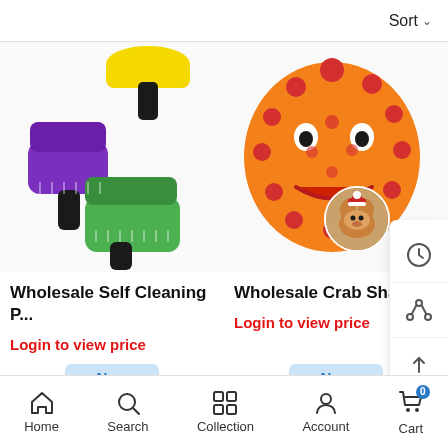Sort
[Figure (photo): Two pet grooming brushes - one purple and one green/black on white background]
Wholesale Self Cleaning P...
Login to view price
[Figure (photo): Orange and red crab-shaped dog toy with spikes, and a small circular dog photo avatar]
Wholesale Crab Shap...
Login to view price
New
60%
New
50%
Home Search Collection Account Cart